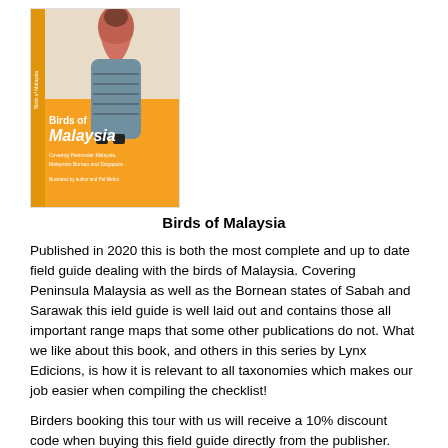[Figure (photo): Book cover of 'Birds of Malaysia' with an orange background and an illustration of a bird. Text reads 'Birds of Malaysia, Covering Peninsular Malaysia, Malaysian Borneo and Singapore'.]
Birds of Malaysia
Published in 2020 this is both the most complete and up to date field guide dealing with the birds of Malaysia. Covering Peninsula Malaysia as well as the Bornean states of Sabah and Sarawak this ield guide is well laid out and contains those all important range maps that some other publications do not. What we like about this book, and others in this series by Lynx Edicions, is how it is relevant to all taxonomies which makes our job easier when compiling the checklist!
Birders booking this tour with us will receive a 10% discount code when buying this field guide directly from the publisher.